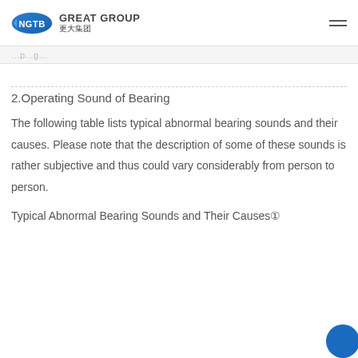NGTB GREAT GROUP 更大集团
2.Operating Sound of Bearing
The following table lists typical abnormal bearing sounds and their causes. Please note that the description of some of these sounds is rather subjective and thus could vary considerably from person to person.
Typical Abnormal Bearing Sounds and Their Causes①